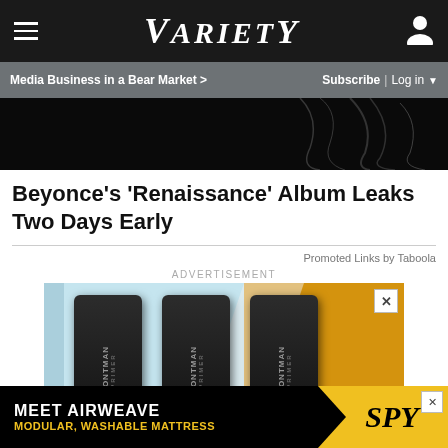VARIETY
Media Business in a Bear Market >   Subscribe | Log in
[Figure (photo): Partial hero image, dark background with water/liquid splash effect]
Beyonce’s ‘Renaissance’ Album Leaks Two Days Early
Promoted Links by Taboola
ADVERTISEMENT
[Figure (photo): Advertisement showing three FRONTMAN product tubes on a light blue and orange background with an X close button]
[Figure (photo): Bottom advertisement: MEET AIRWEAVE MODULAR, WASHABLE MATTRESS with SPY logo on yellow background]